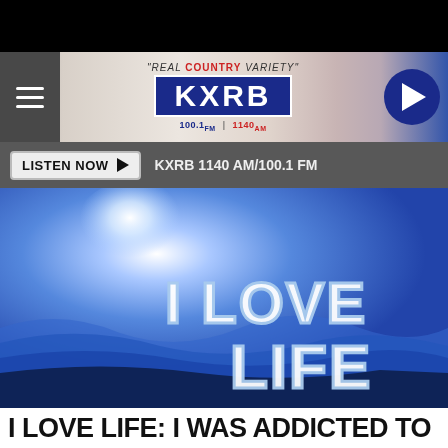[Figure (screenshot): KXRB radio station website screenshot showing header with logo, listen now bar, hero image with 'I LOVE LIFE' text, and article title beginning 'I LOVE LIFE: I WAS ADDICTED TO']
"REAL COUNTRY VARIETY" KXRB 100.1 FM | 1140 AM
LISTEN NOW ▶  KXRB 1140 AM/100.1 FM
I LOVE LIFE: I WAS ADDICTED TO